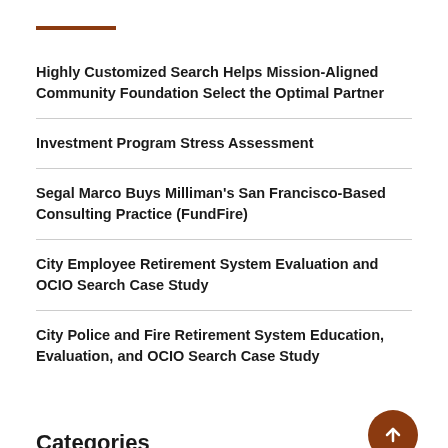Highly Customized Search Helps Mission-Aligned Community Foundation Select the Optimal Partner
Investment Program Stress Assessment
Segal Marco Buys Milliman's San Francisco-Based Consulting Practice (FundFire)
City Employee Retirement System Evaluation and OCIO Search Case Study
City Police and Fire Retirement System Education, Evaluation, and OCIO Search Case Study
Categories